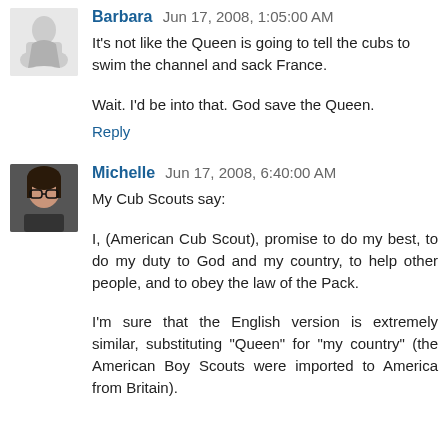Barbara  Jun 17, 2008, 1:05:00 AM
It's not like the Queen is going to tell the cubs to swim the channel and sack France.

Wait. I'd be into that. God save the Queen.

Reply
Michelle  Jun 17, 2008, 6:40:00 AM
My Cub Scouts say:

I, (American Cub Scout), promise to do my best, to do my duty to God and my country, to help other people, and to obey the law of the Pack.

I'm sure that the English version is extremely similar, substituting "Queen" for "my country" (the American Boy Scouts were imported to America from Britain).